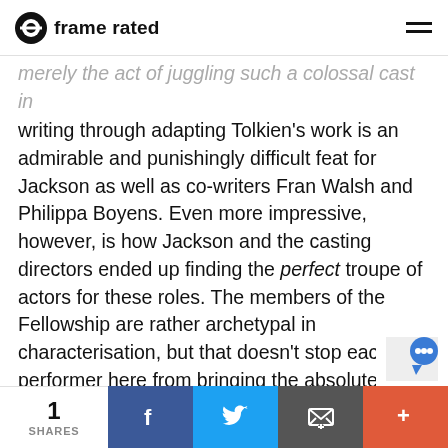frame rated
merely the act of juggling such a colossal cast in writing through adapting Tolkien's work is an admirable and punishingly difficult feat for Jackson as well as co-writers Fran Walsh and Philippa Boyens. Even more impressive, however, is how Jackson and the casting directors ended up finding the perfect troupe of actors for these roles. The members of the Fellowship are rather archetypal in characterisation, but that doesn't stop each performer here from bringing the absolute best from their characters on a consistent basis, especially when most of their roles have only just started showing signs of further complexity and development. For one, Bloom a
1 SHARES